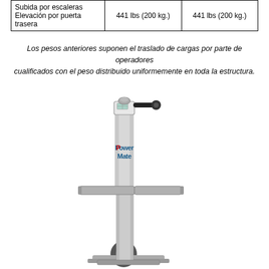|  |  |  |
| --- | --- | --- |
| Subida por escaleras Elevación por puerta trasera | 441 lbs (200 kg.) | 441 lbs (200 kg.) |
Los pesos anteriores suponen el traslado de cargas por parte de operadores cualificados con el peso distribuido uniformemente en toda la estructura.
[Figure (photo): PowerMate stair climbing hand truck / powered stairclimber device. A tall aluminum vertical column with 'Power Mate' logo, a control box and handle at the top, horizontal load platform arms extending from the middle, and two large wheels at the base with a floor-level platform.]